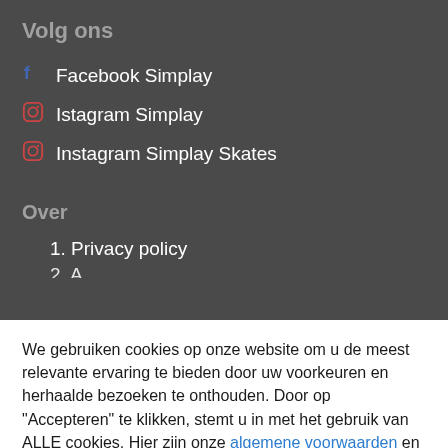Volg ons
Facebook Simplay
Istagram Simplay
Instagram Simplay Skates
Over
1. Privacy policy
We gebruiken cookies op onze website om u de meest relevante ervaring te bieden door uw voorkeuren en herhaalde bezoeken te onthouden. Door op "Accepteren" te klikken, stemt u in met het gebruik van ALLE cookies. Hier zijn onze algemene voorwaarden en privacy reglement
Cookie instellingen
aanvaarden